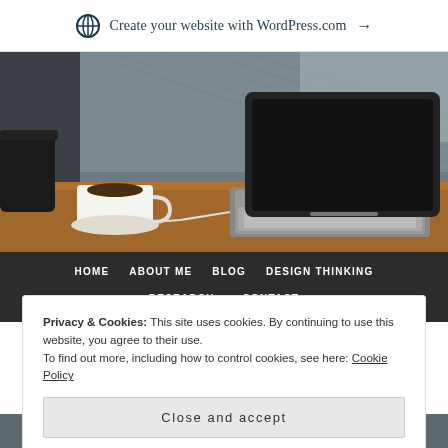Create your website with WordPress.com →
[Figure (photo): Photo of an open laptop on a wooden desk in a cafe setting, with a white coffee cup to the left and dark wire mesh/wall in background.]
HOME   ABOUT ME   BLOG   DESIGN THINKING
RESEARCH   CONTACT
Privacy & Cookies: This site uses cookies. By continuing to use this website, you agree to their use.
To find out more, including how to control cookies, see here: Cookie Policy
Close and accept